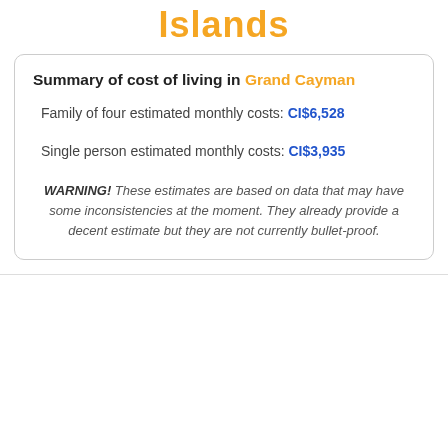Islands
Summary of cost of living in Grand Cayman
Family of four estimated monthly costs: CI$6,528
Single person estimated monthly costs: CI$3,935
WARNING!  These estimates are based on data that may have some inconsistencies at the moment. They already provide a decent estimate but they are not currently bullet-proof.